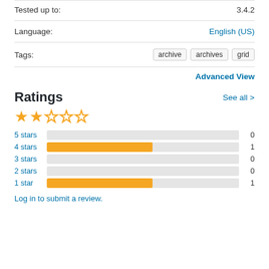| Property | Value |
| --- | --- |
| Tested up to: | 3.4.2 |
| Language: | English (US) |
| Tags: | archive   archives   grid |
Advanced View
Ratings
See all >
[Figure (other): 2.5 out of 5 stars rating: 2 filled stars, 1 half star (shown as half-filled), 2 empty stars]
[Figure (bar-chart): Ratings breakdown]
Log in to submit a review.